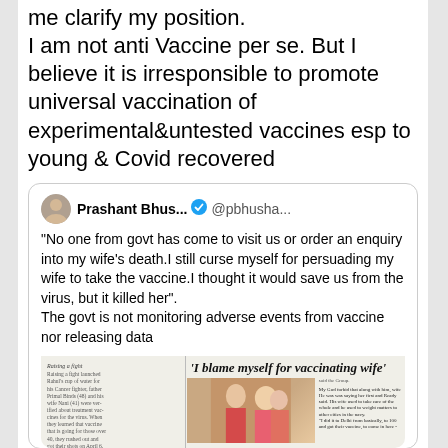me clarify my position. I am not anti Vaccine per se. But I believe it is irresponsible to promote universal vaccination of experimental&untested vaccines esp to young & Covid recovered
[Figure (screenshot): Quoted tweet from Prashant Bhus... (@pbhusha...) with verified badge. Tweet text: '"No one from govt has come to visit us or order an enquiry into my wife's death.I still curse myself for persuading my wife to take the vaccine.I thought it would save us from the virus, but it killed her". The govt is not monitoring adverse events from vaccine nor releasing data'. Below the tweet text is a newspaper clipping image with headline 'I blame myself for vaccinating wife' and a photo of people.]